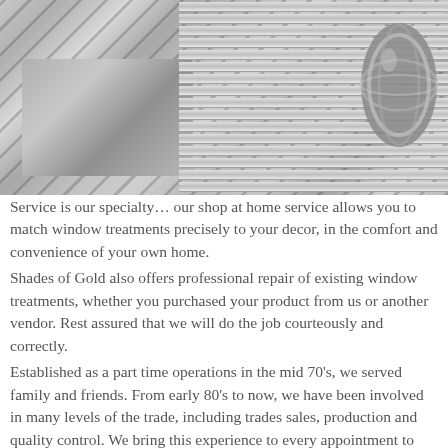[Figure (photo): Black and white photo of venetian window blinds casting shadow stripes, with stacked folded fabric on the left and a decorative spherical chrome/silver orb on the right]
Service is our specialty… our shop at home service allows you to match window treatments precisely to your decor, in the comfort and convenience of your own home. Shades of Gold also offers professional repair of existing window treatments, whether you purchased your product from us or another vendor. Rest assured that we will do the job courteously and correctly. Established as a part time operations in the mid 70's, we served family and friends. From early 80's to now, we have been involved in many levels of the trade, including trades sales, production and quality control. We bring this experience to every appointment to fulfill the client's needs. We strive to find the balance where function meets fashion